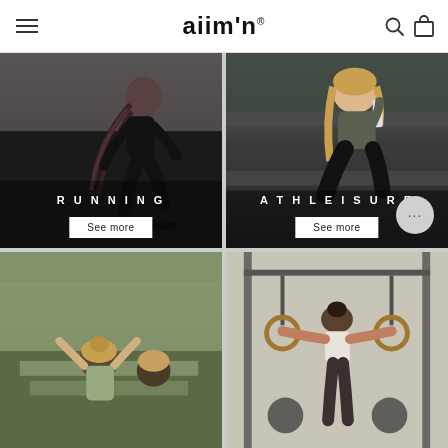aiim'in — navigation header with logo, hamburger menu, search and cart icons
[Figure (photo): Woman with long braids wearing black athletic crop top and leggings, running outdoors in urban setting. Category: RUNNING. Button: See more]
[Figure (photo): Blonde woman wearing dark olive crop top and black leggings, drinking from water bottle while seated on steps. Category: ATHLEISURE. Button: See more]
[Figure (photo): Two women seen from behind outdoors, wearing athletic wear, partial view cut off at bottom of page]
[Figure (photo): Athletic person in white top using gymnastic rings in a gym setting, partial view cut off at bottom of page]